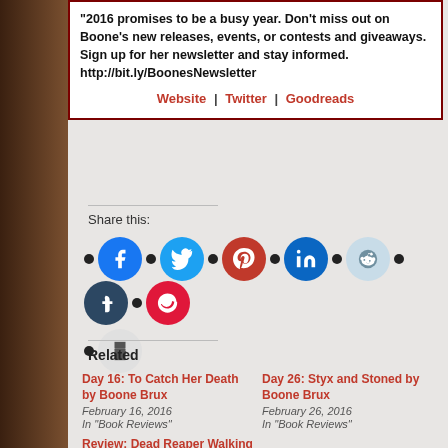2016 promises to be a busy year. Don't miss out on Boone's new releases, events, or contests and giveaways. Sign up for her newsletter and stay informed. http://bit.ly/BoonesNewsletter
Website | Twitter | Goodreads
Share this:
[Figure (infographic): Social share buttons: Facebook, Twitter, Pinterest, LinkedIn, Reddit, Tumblr, Pocket, Print]
Related
Day 16: To Catch Her Death by Boone Brux
February 16, 2016
In "Book Reviews"
Day 26: Styx and Stoned by Boone Brux
February 26, 2016
In "Book Reviews"
Review: Dead Reaper Walking